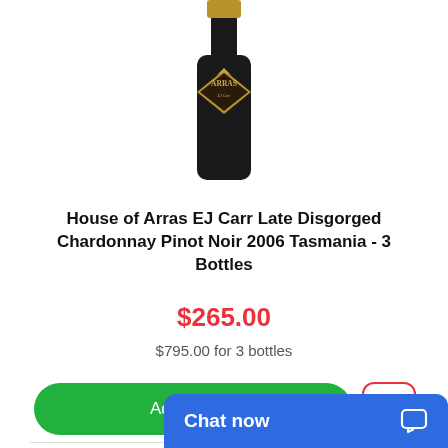[Figure (photo): Wine bottle — House of Arras EJ Carr, dark bottle with gold diamond-shaped label showing 'ARRAS' text, partially cropped at top]
House of Arras EJ Carr Late Disgorged Chardonnay Pinot Noir 2006 Tasmania - 3 Bottles
$265.00
$795.00 for 3 bottles
Add to Cart
Chat now